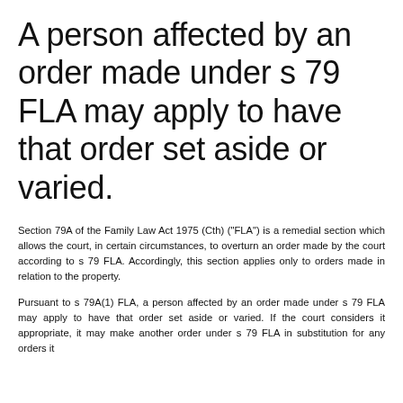A person affected by an order made under s 79 FLA may apply to have that order set aside or varied.
Section 79A of the Family Law Act 1975 (Cth) ("FLA") is a remedial section which allows the court, in certain circumstances, to overturn an order made by the court according to s 79 FLA. Accordingly, this section applies only to orders made in relation to the property.
Pursuant to s 79A(1) FLA, a person affected by an order made under s 79 FLA may apply to have that order set aside or varied. If the court considers it appropriate, it may make another order under s 79 FLA in substitution for any orders it